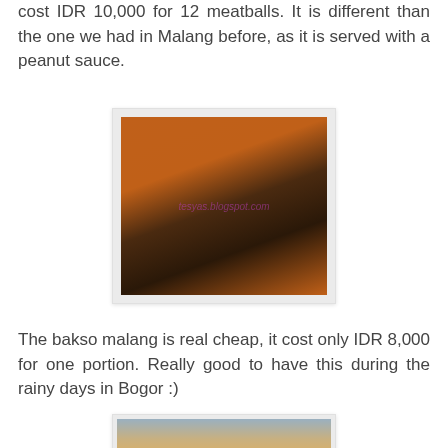cost IDR 10,000 for 12 meatballs. It is different than the one we had in Malang before, as it is served with a peanut sauce.
[Figure (photo): Photo of skewered meatballs on an orange plate with bamboo skewers, served with what appears to be tofu and vegetables. Watermark reads tesyas.blogspot.com]
The bakso malang is real cheap, it cost only IDR 8,000 for one portion. Really good to have this during the rainy days in Bogor :)
[Figure (photo): Photo of bakso malang (meatball soup), partially visible at bottom of page, showing what appears to be meatballs in soup with a fork visible.]